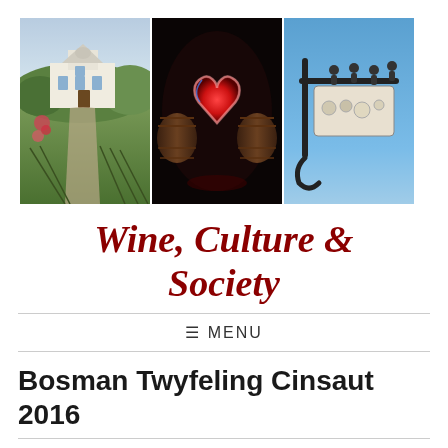[Figure (photo): Three-panel banner image: left panel shows a white Cape Dutch manor house with vineyards and roses in the foreground; center panel shows large wooden wine barrels with a glowing red heart-shaped neon light; right panel shows a decorative wrought-iron sign with figures against a blue sky.]
Wine, Culture & Society
≡ MENU
Bosman Twyfeling Cinsaut 2016
Tasted 5th November 2019